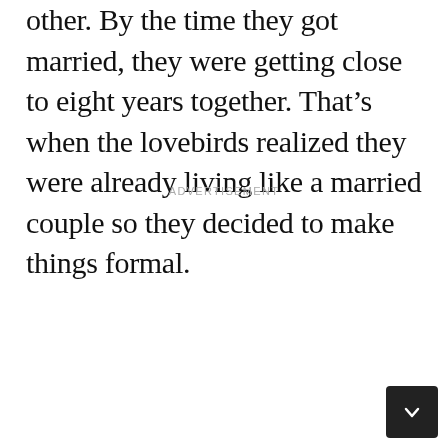other. By the time they got married, they were getting close to eight years together. That’s when the lovebirds realized they were already living like a married couple so they decided to make things formal.
ADVERTISEMENT